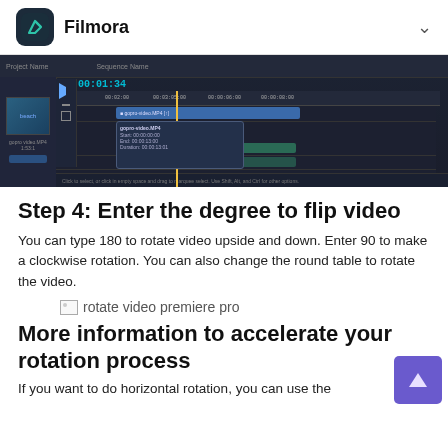Filmora
[Figure (screenshot): Filmora/Premiere Pro video editing software timeline interface showing a video clip being edited with timestamps and timeline tracks]
Step 4: Enter the degree to flip video
You can type 180 to rotate video upside and down. Enter 90 to make a clockwise rotation. You can also change the round table to rotate the video.
[Figure (screenshot): rotate video premiere pro - broken image placeholder]
More information to accelerate your rotation process
If you want to do horizontal rotation, you can use the